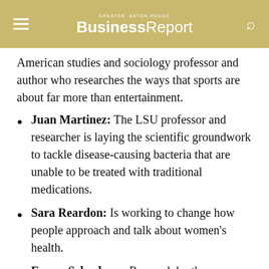Greater Baton Rouge BusinessReport
American studies and sociology professor and author who researches the ways that sports are about far more than entertainment.
Juan Martinez: The LSU professor and researcher is laying the scientific groundwork to tackle disease-causing bacteria that are unable to be treated with traditional medications.
Sara Reardon: Is working to change how people approach and talk about women's health.
Emma Schachner: Research by the evolutionary biologist and paleontologist is investigating how the specialized dinosaur lung helped it live.